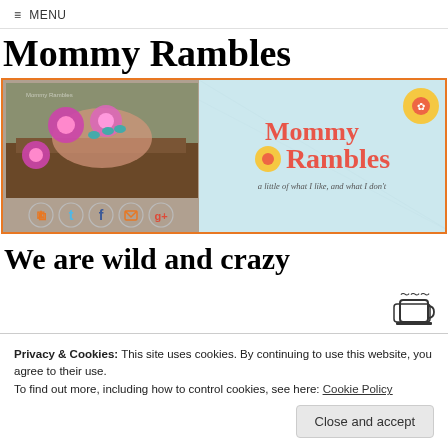≡ MENU
Mommy Rambles
[Figure (illustration): Mommy Rambles blog banner with a photo of a hand holding pink flowers on the left, social media icons (RSS, Twitter, Facebook, email, Google+), and a light blue background on the right showing 'Mommy Rambles' logo with daisy flowers and tagline 'a little of what I like, and what I don't']
We are wild and crazy
Privacy & Cookies: This site uses cookies. By continuing to use this website, you agree to their use.
To find out more, including how to control cookies, see here: Cookie Policy
Close and accept